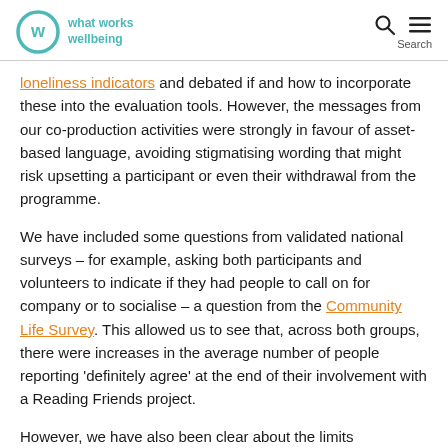what works wellbeing
loneliness indicators and debated if and how to incorporate these into the evaluation tools. However, the messages from our co-production activities were strongly in favour of asset-based language, avoiding stigmatising wording that might risk upsetting a participant or even their withdrawal from the programme.
We have included some questions from validated national surveys – for example, asking both participants and volunteers to indicate if they had people to call on for company or to socialise – a question from the Community Life Survey. This allowed us to see that, across both groups, there were increases in the average number of people reporting 'definitely agree' at the end of their involvement with a Reading Friends project.
However, we have also been clear about the limits